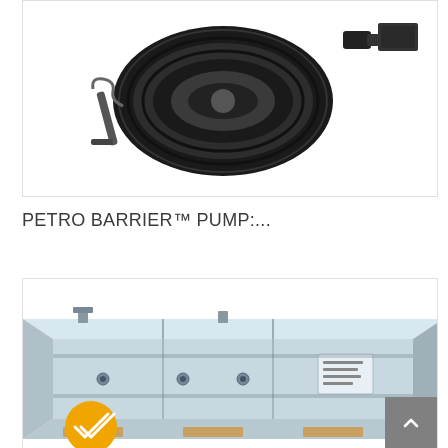[Figure (photo): Photo of a PETRO BARRIER pump hose reel device, black coiled hose on a reel mechanism with mounting bracket, shown against white background]
PETRO BARRIER™ PUMP:...
[Figure (photo): Photo of a large galvanized metal oil/water separator tank or grease trap unit, rectangular box-shaped industrial equipment with multiple port connections, shown partially, with a yellow circular badge with double-check icon in lower left corner. A gray scroll-to-top button with upward chevron arrow is visible at the bottom right.]